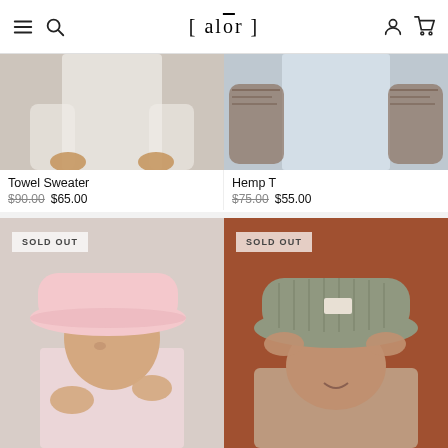[ alōr ]
[Figure (photo): Man wearing a white towel sweater, hands at front.]
[Figure (photo): Tattooed man wearing a light blue hemp t-shirt.]
Towel Sweater
$90.00  $65.00
Hemp T
$75.00  $55.00
[Figure (photo): Person wearing a pink bucket hat, looking down. SOLD OUT badge overlay.]
[Figure (photo): Woman wearing a textured olive/green bucket hat, smiling. SOLD OUT badge overlay.]